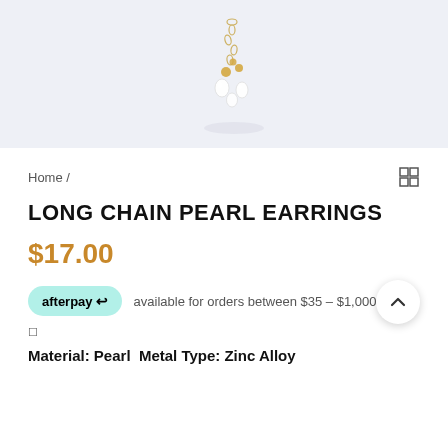[Figure (photo): Pearl and gold chain earring on a light lavender-grey background]
Home /
LONG CHAIN PEARL EARRINGS
$17.00
afterpay  available for orders between $35 – $1,000
Material: Pearl  Metal Type: Zinc Alloy